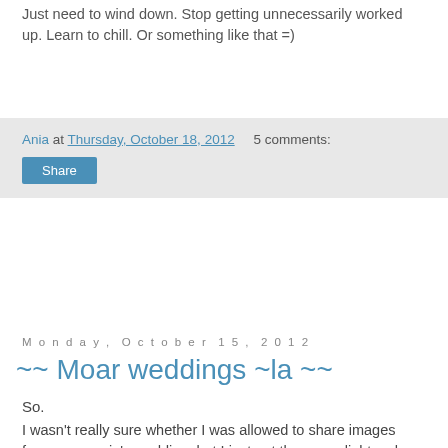Just need to wind down. Stop getting unnecessarily worked up. Learn to chill. Or something like that =)
Ania at Thursday, October 18, 2012   5 comments:
Share
Monday, October 15, 2012
~~ Moar weddings ~la ~~
So.
I wasn't really sure whether I was allowed to share images from my cousin's wedding, but I just got the green light so here we go. Loads of photos :)
[Figure (photo): Dark photograph of wedding guests including a woman in a dark dress and men in suits, taken in dim indoor lighting]